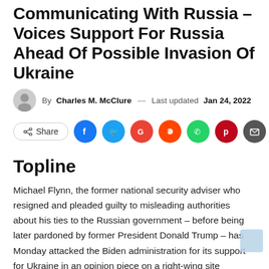Communicating With Russia – Voices Support For Russia Ahead Of Possible Invasion Of Ukraine
By Charles M. McClure — Last updated Jan 24, 2022
[Figure (infographic): Social share bar with Share button and icons for Facebook, Twitter, Google, Reddit, WhatsApp, Pinterest, Email]
Topline
Michael Flynn, the former national security adviser who resigned and pleaded guilty to misleading authorities about his ties to the Russian government – before being later pardoned by former President Donald Trump – has Monday attacked the Biden administration for its support for Ukraine in an opinion piece on a right-wing site criticized for spreading false information, appearing to repeat the views of Russian President Vladimir Putin.